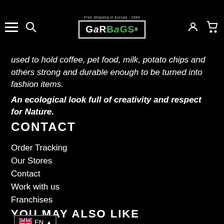GarBags — Free Shipping in Europe · 1984
used to hold coffee, pet food, milk, potato chips and others strong and durable enough to be turned into fashion items.
An ecological look full of creativity and respect for Nature.
CONTACT
Order Tracking
Our Stores
Contact
Work with us
Franchises
YOU MAY ALSO LIKE
EN
30 Days! Happy or return!
Secure Shopping